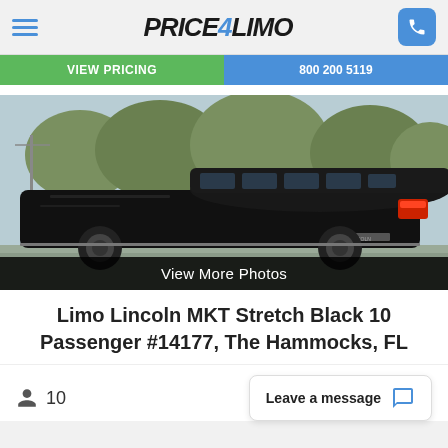Price4Limo
[Figure (screenshot): Navigation buttons: green 'View Pricing' button and blue phone number button]
[Figure (photo): Black Lincoln MKT stretch limousine driving on road, rear three-quarter view, with trees in background]
View More Photos
Limo Lincoln MKT Stretch Black 10 Passenger #14177, The Hammocks, FL
10
Leave a message